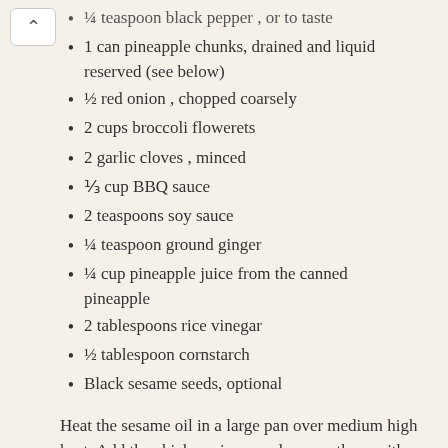¼ teaspoon black pepper , or to taste
1 can pineapple chunks, drained and liquid reserved (see below)
½ red onion , chopped coarsely
2 cups broccoli flowerets
2 garlic cloves , minced
⅓ cup BBQ sauce
2 teaspoons soy sauce
¼ teaspoon ground ginger
¼ cup pineapple juice from the canned pineapple
2 tablespoons rice vinegar
½ tablespoon cornstarch
Black sesame seeds, optional
Heat the sesame oil in a large pan over medium high heat. Add the chicken pieces and season them with salt and pepper. Cook the chicken, stirring occasionally, until it is no longer pink,